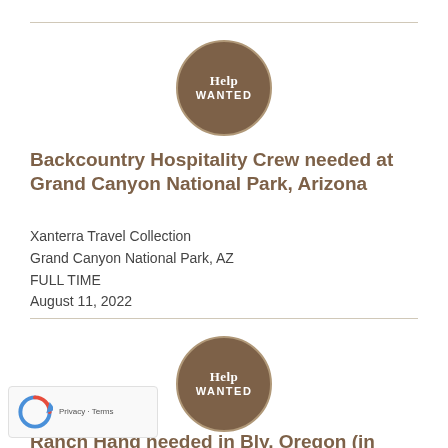[Figure (logo): Help Wanted circular badge — brown circle with white text reading HELP WANTED, top of page]
Backcountry Hospitality Crew needed at Grand Canyon National Park, Arizona
Xanterra Travel Collection
Grand Canyon National Park, AZ
FULL TIME
August 11, 2022
[Figure (logo): Help Wanted circular badge — brown circle with white text reading HELP WANTED, bottom section]
Ranch Hand needed in Bly, Oregon (in